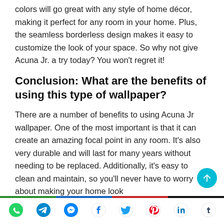colors will go great with any style of home décor, making it perfect for any room in your home. Plus, the seamless borderless design makes it easy to customize the look of your space. So why not give Acuna Jr. a try today? You won't regret it!
Conclusion: What are the benefits of using this type of wallpaper?
There are a number of benefits to using Acuna Jr wallpaper. One of the most important is that it can create an amazing focal point in any room. It's also very durable and will last for many years without needing to be replaced. Additionally, it's easy to clean and maintain, so you'll never have to worry about making your home look